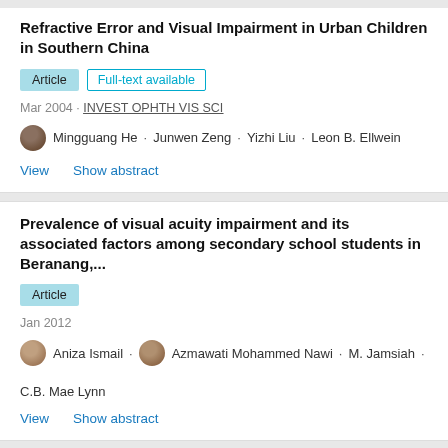Refractive Error and Visual Impairment in Urban Children in Southern China
Article | Full-text available
Mar 2004 · INVEST OPHTH VIS SCI
Mingguang He · Junwen Zeng · Yizhi Liu · Leon B. Ellwein
View  Show abstract
Prevalence of visual acuity impairment and its associated factors among secondary school students in Beranang,...
Article
Jan 2012
Aniza Ismail · Azmawati Mohammed Nawi · M. Jamsiah · C.B. Mae Lynn
View  Show abstract